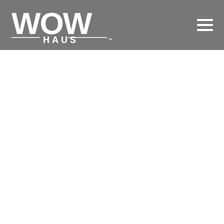[Figure (logo): WOW HAUS logo in white on grey background, with hamburger menu icon in top right]